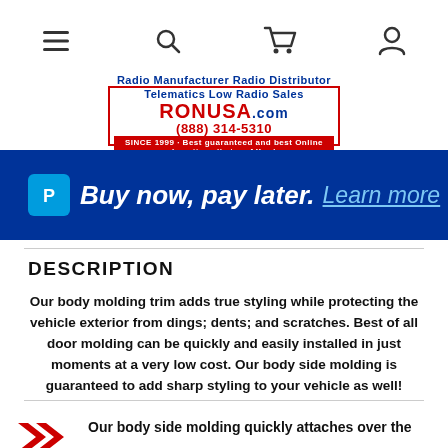Navigation header with menu, search, cart, and account icons
[Figure (logo): RONUSA.com logo with phone number (888) 314-5310 and SINCE 1999 red banner]
[Figure (infographic): Blue PayPal banner: Buy now, pay later. Learn more]
DESCRIPTION
Our body molding trim adds true styling while protecting the vehicle exterior from dings; dents; and scratches. Best of all door molding can be quickly and easily installed in just moments at a very low cost. Our body side molding is guaranteed to add sharp styling to your vehicle as well!
Our body side molding quickly attaches over the